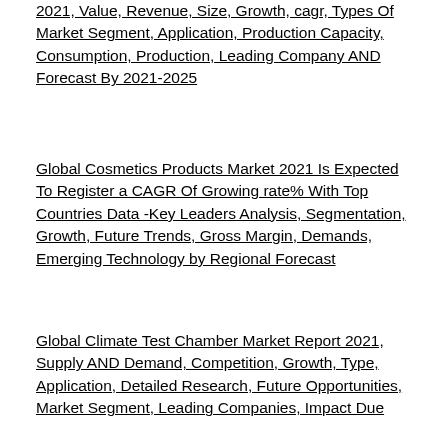2021, Value, Revenue, Size, Growth, cagr, Types Of Market Segment, Application, Production Capacity, Consumption, Production, Leading Company AND Forecast By 2021-2025
Global Cosmetics Products Market 2021 Is Expected To Register a CAGR Of Growing rate% With Top Countries Data -Key Leaders Analysis, Segmentation, Growth, Future Trends, Gross Margin, Demands, Emerging Technology by Regional Forecast
Global Climate Test Chamber Market Report 2021, Supply AND Demand, Competition, Growth, Type, Application, Detailed Research, Future Opportunities, Market Segment, Leading Companies, Impact Due